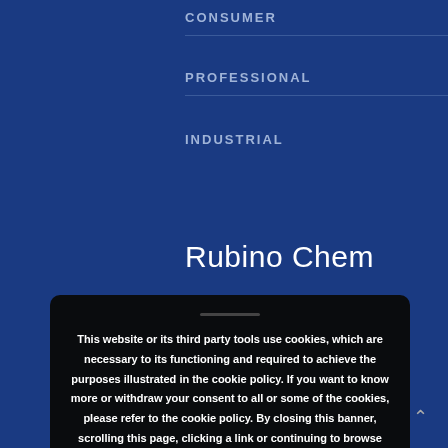CONSUMER
PROFESSIONAL
INDUSTRIAL
Rubino Chem
This website or its third party tools use cookies, which are necessary to its functioning and required to achieve the purposes illustrated in the cookie policy. If you want to know more or withdraw your consent to all or some of the cookies, please refer to the cookie policy. By closing this banner, scrolling this page, clicking a link or continuing to browse otherwise, you agree to the use of cookies. INFO  Accetto